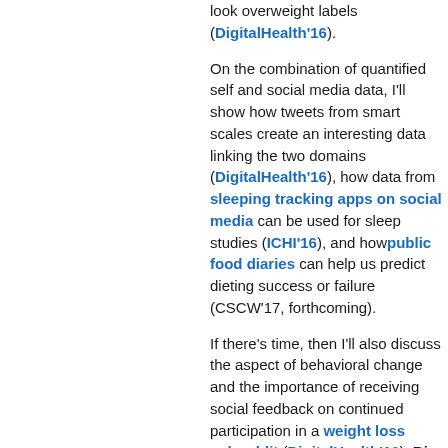look overweight labels (DigitalHealth'16).
On the combination of quantified self and social media data, I'll show how tweets from smart scales create an interesting data linking the two domains (DigitalHealth'16), how data from sleeping tracking apps on social media can be used for sleep studies (ICHI'16), and how public food diaries can help us predict dieting success or failure (CSCW'17, forthcoming).
If there's time, then I'll also discuss the aspect of behavioral change and the importance of receiving social feedback on continued participation in a weight loss subreddit (DigitalHealth'16). Bio